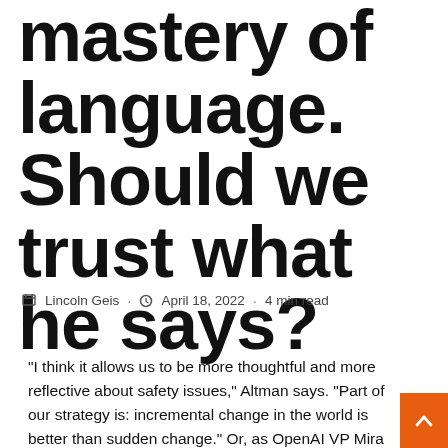mastery of language. Should we trust what he says?
Lincoln Geis · April 18, 2022 · 4 min read
“I think it allows us to be more thoughtful and more reflective about safety issues,” Altman says. “Part of our strategy is: incremental change in the world is better than sudden change.” Or, as OpenAI VP Mira Moratti put it, when I asked her about the work of the